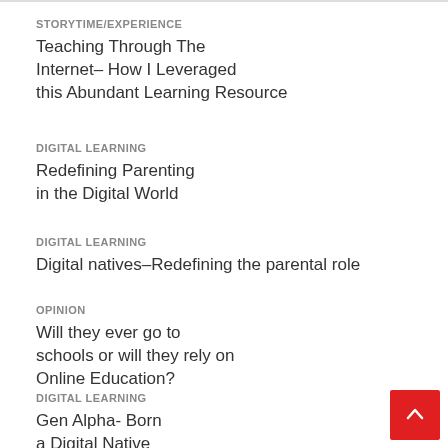STORYTIME/EXPERIENCE
Teaching Through The Internet– How I Leveraged this Abundant Learning Resource
DIGITAL LEARNING
Redefining Parenting in the Digital World
DIGITAL LEARNING
Digital natives–Redefining the parental role
OPINION
Will they ever go to schools or will they rely on Online Education?
DIGITAL LEARNING
Gen Alpha- Born a Digital Native